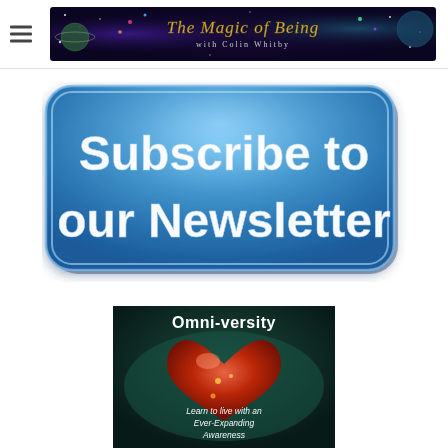[Figure (illustration): The Magic of Being with Colin Whitby — colorful cosmic/space themed website banner with planets, stars, and magical elements]
[Figure (illustration): Blue rounded-rectangle button with white bold text reading 'Subscribe to our Newsletter']
[Figure (illustration): Omni-versity banner with red heart image and text: 'Omni-versity — Learn to live with an Ever-Expanding Awareness']